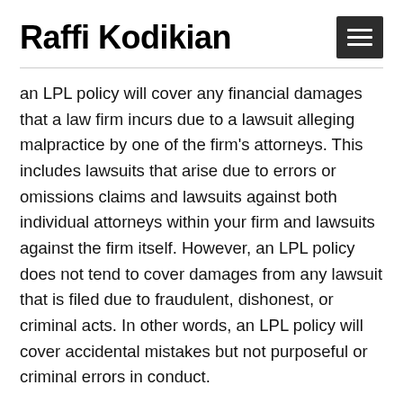Raffi Kodikian
an LPL policy will cover any financial damages that a law firm incurs due to a lawsuit alleging malpractice by one of the firm's attorneys. This includes lawsuits that arise due to errors or omissions claims and lawsuits against both individual attorneys within your firm and lawsuits against the firm itself. However, an LPL policy does not tend to cover damages from any lawsuit that is filed due to fraudulent, dishonest, or criminal acts. In other words, an LPL policy will cover accidental mistakes but not purposeful or criminal errors in conduct.
“When people’s freedom and livelihood are on the line, the possibility of a lawsuit is always present,” says Raffi Kodikian. “LPL insurance may or may not